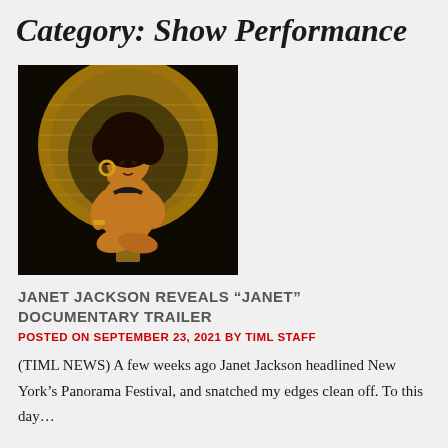Category: Show Performance
[Figure (photo): Woman seated on a wicker peacock chair, wearing a bikini top, with large gold hoop earrings and curly hair. Dark background with golden wicker heart-shaped chair.]
JANET JACKSON REVEALS “JANET” DOCUMENTARY TRAILER
POSTED ON SEPTEMBER 23, 2021 BY TIML STAFF
(TIML NEWS) A few weeks ago Janet Jackson headlined New York’s Panorama Festival, and snatched my edges clean off. To this day…